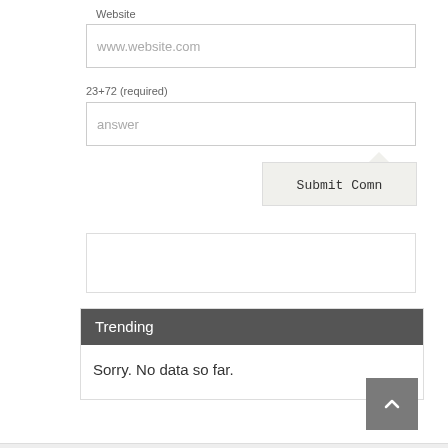Website
[Figure (screenshot): Text input field with placeholder text 'www.website.com']
23+72 (required)
[Figure (screenshot): Text input field with placeholder text 'answer']
[Figure (screenshot): Submit Comment button with tooltip/callout styling]
[Figure (screenshot): Empty bordered box]
Trending
Sorry. No data so far.
[Figure (screenshot): Back to top arrow button (chevron up icon)]